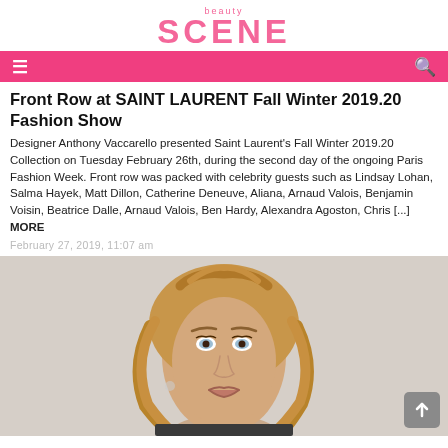beauty SCENE
Front Row at SAINT LAURENT Fall Winter 2019.20 Fashion Show
Designer Anthony Vaccarello presented Saint Laurent's Fall Winter 2019.20 Collection on Tuesday February 26th, during the second day of the ongoing Paris Fashion Week. Front row was packed with celebrity guests such as Lindsay Lohan, Salma Hayek, Matt Dillon, Catherine Deneuve, Aliana, Arnaud Valois, Benjamin Voisin, Beatrice Dalle, Arnaud Valois, Ben Hardy, Alexandra Agoston, Chris [...] MORE
February 27, 2019, 11:07 am
[Figure (photo): Close-up portrait photo of a blonde woman with wavy hair, light blue eyes, and a subtle expression, set against a light grey background.]